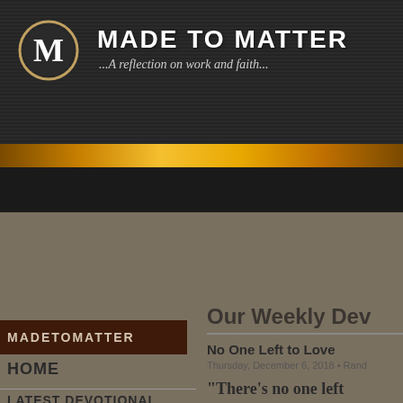[Figure (logo): Made to Matter website header with circular M logo, site title 'MADE TO MATTER' and subtitle '...A reflection on work and faith...' on dark textured background with gold banner]
MADE TO MATTER
...A reflection on work and faith...
MADETOMATTER
HOME
LATEST DEVOTIONAL
Our Weekly Dev
No One Left to Love
Thursday, December 6, 2018 • Rand
"There's no one left